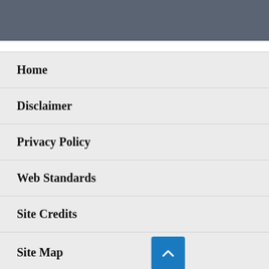Home
Disclaimer
Privacy Policy
Web Standards
Site Credits
Site Map
Contact Us